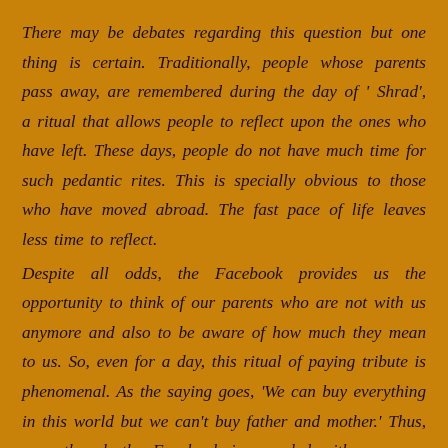There may be debates regarding this question but one thing is certain. Traditionally, people whose parents pass away, are remembered during the day of ' Shrad', a ritual that allows people to reflect upon the ones who have left. These days, people do not have much time for such pedantic rites. This is specially obvious to those who have moved abroad. The fast pace of life leaves less time to reflect. Despite all odds, the Facebook provides us the opportunity to think of our parents who are not with us anymore and also to be aware of how much they mean to us. So, even for a day, this ritual of paying tribute is phenomenal. As the saying goes, 'We can buy everything in this world but we can't buy father and mother.' Thus, even though the Facebook is crowded with messages about 'The Father's Day'. It is good to follow the crowd